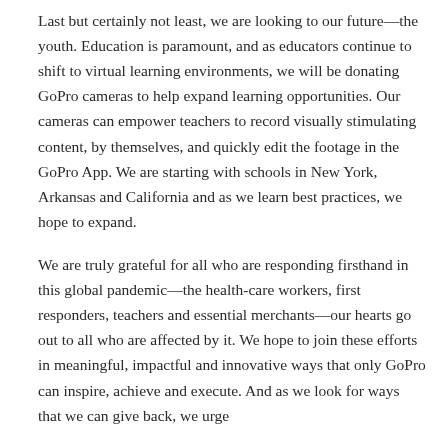Last but certainly not least, we are looking to our future—the youth. Education is paramount, and as educators continue to shift to virtual learning environments, we will be donating GoPro cameras to help expand learning opportunities. Our cameras can empower teachers to record visually stimulating content, by themselves, and quickly edit the footage in the GoPro App. We are starting with schools in New York, Arkansas and California and as we learn best practices, we hope to expand.
We are truly grateful for all who are responding firsthand in this global pandemic—the health-care workers, first responders, teachers and essential merchants—our hearts go out to all who are affected by it. We hope to join these efforts in meaningful, impactful and innovative ways that only GoPro can inspire, achieve and execute. And as we look for ways that we can give back, we urge